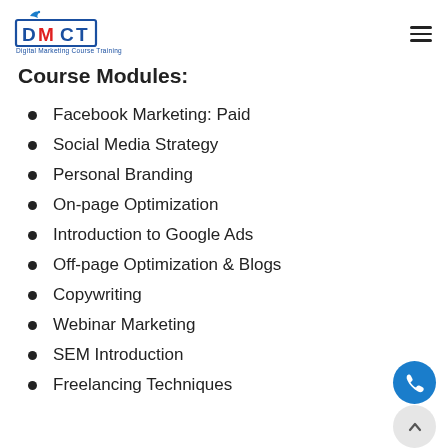DMCT Digital Marketing Course Training
Course Modules:
Facebook Marketing: Paid
Social Media Strategy
Personal Branding
On-page Optimization
Introduction to Google Ads
Off-page Optimization & Blogs
Copywriting
Webinar Marketing
SEM Introduction
Freelancing Techniques